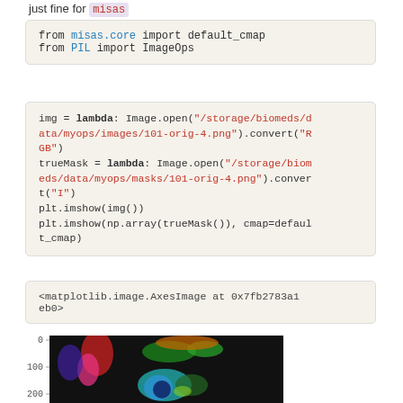just fine for misas
from misas.core import default_cmap
from PIL import ImageOps
img = lambda: Image.open("/storage/biomeds/data/myops/images/101-orig-4.png").convert("RGB")
trueMask = lambda: Image.open("/storage/biomeds/data/myops/masks/101-orig-4.png").convert("I")
plt.imshow(img())
plt.imshow(np.array(trueMask()), cmap=default_cmap)
<matplotlib.image.AxesImage at 0x7fb2783a1eb0>
[Figure (other): A matplotlib plot showing a medical image (cardiac MRI) displayed with a colormap, with y-axis labels 0, 100, 200 visible on the left side.]